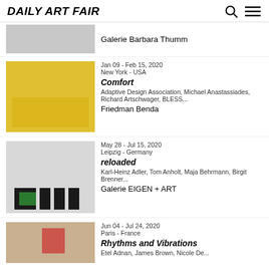Daily Art Fair
Galerie Barbara Thumm
Jan 09 - Feb 15, 2020 | New York - USA | Comfort | Adaptive Design Association, Michael Anastassiades, Richard Artschwager, BLESS... | Friedman Benda
May 28 - Jul 15, 2020 | Leipzig - Germany | reloaded | Karl-Heinz Adler, Tom Anholt, Maja Behrmann, Birgit Brenner... | Galerie EIGEN + ART
Jun 04 - Jul 24, 2020 | Paris - France | Rhythms and Vibrations | Etel Adnan, James Brown, Nicole De...